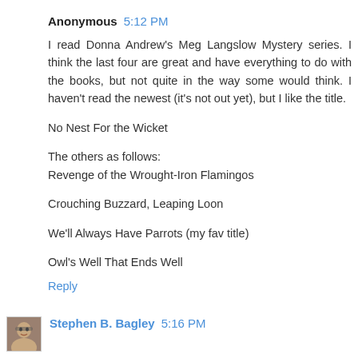Anonymous 5:12 PM
I read Donna Andrew's Meg Langslow Mystery series. I think the last four are great and have everything to do with the books, but not quite in the way some would think. I haven't read the newest (it's not out yet), but I like the title.
No Nest For the Wicket
The others as follows:
Revenge of the Wrought-Iron Flamingos
Crouching Buzzard, Leaping Loon
We'll Always Have Parrots (my fav title)
Owl's Well That Ends Well
Reply
Stephen B. Bagley 5:16 PM